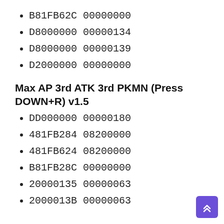B81FB62C 00000000
D8000000 00000134
D8000000 00000139
D2000000 00000000
Max AP 3rd ATK 3rd PKMN (Press DOWN+R) v1.5
DD000000 00000180
481FB284 08200000
481FB624 08200000
B81FB28C 00000000
20000135 00000063
2000013B 00000063